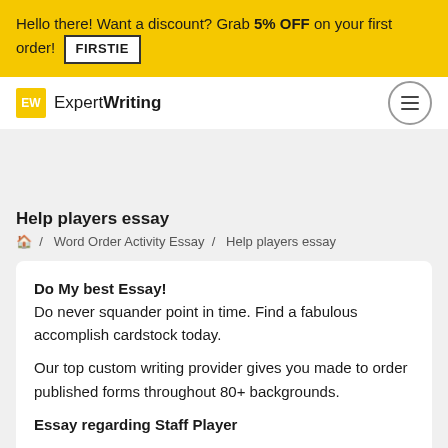Hello there! Want a discount? Grab 5% OFF on your first order! FIRSTIE
[Figure (logo): ExpertWriting logo with yellow EW badge and hamburger menu button]
Help players essay
🏠 / Word Order Activity Essay / Help players essay
Do My best Essay! Do never squander point in time. Find a fabulous accomplish cardstock today. Our top custom writing provider gives you made to order published forms throughout 80+ backgrounds. Essay regarding Staff Player Structure essays, explore documents, term reports,